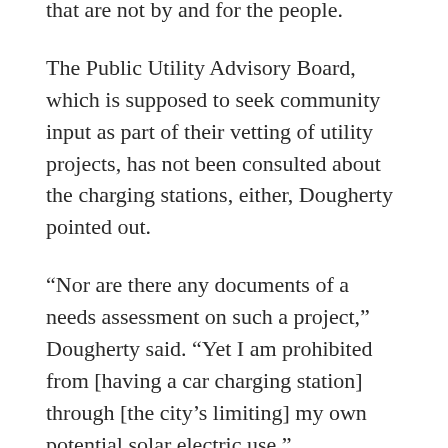that are not by and for the people.
The Public Utility Advisory Board, which is supposed to seek community input as part of their vetting of utility projects, has not been consulted about the charging stations, either, Dougherty pointed out.
“Nor are there any documents of a needs assessment on such a project,” Dougherty said. “Yet I am prohibited from [having a car charging station] through [the city’s limiting] my own potential solar electric use.”
LaRena Miller, director of the Geronimo Trail National Scenic Byway Visitor Center, also spoke during public comment, expressing favor for city-owned electric car charging stations as a means of attracting tourists. In exchange for providing visitor information, Miller is given space at the Lee Belle Johnson building on Foch Street, which is also home to the languishing Spaceport Visitor’s Center. The Lee Belle Johnson building used to